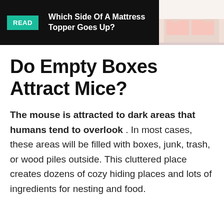[Figure (screenshot): Banner ad with black background showing READ button in teal, text 'Which Side Of A Mattress Topper Goes Up?' and a bedroom photo on the right]
Do Empty Boxes Attract Mice?
The mouse is attracted to dark areas that humans tend to overlook . In most cases, these areas will be filled with boxes, junk, trash, or wood piles outside. This cluttered place creates dozens of cozy hiding places and lots of ingredients for nesting and food.